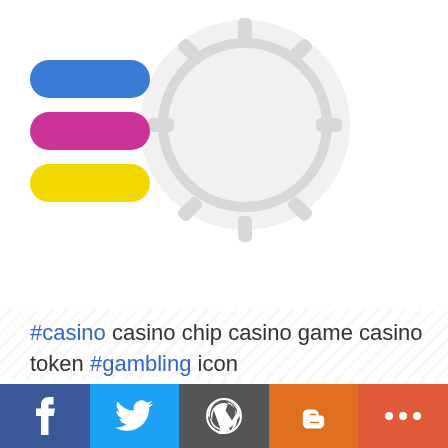[Figure (logo): Logo with three colored pill/capsule shapes (blue, magenta, yellow) stacked vertically on left, and a large light gray circular casino chip icon on the right background]
#casino casino chip casino game casino token #gambling icon
[Figure (illustration): Black circle with a white cent/casino chip symbol (a C with a vertical line through it) — casino token icon]
Facebook | Twitter | WordPress | Blogger | +